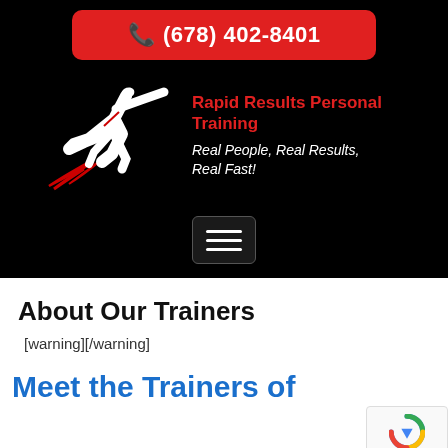[Figure (screenshot): Hero section with black background showing phone number button, personal training logo with silhouette athlete figure, and hamburger menu button]
About Our Trainers
[warning][/warning]
Meet the Trainers of